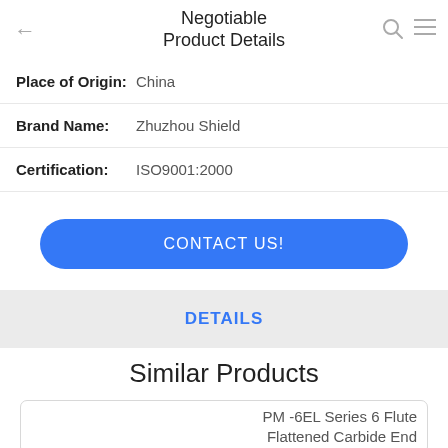Negotiable Product Details
| Place of Origin: | China |
| Brand Name: | Zhuzhou Shield |
| Certification: | ISO9001:2000 |
CONTACT US!
DETAILS
Similar Products
PM -6EL Series 6 Flute Flattened Carbide End